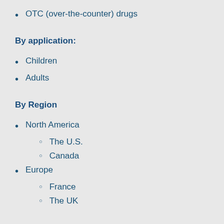OTC (over-the-counter) drugs
By application:
Children
Adults
By Region
North America
The U.S.
Canada
Europe
France
The UK